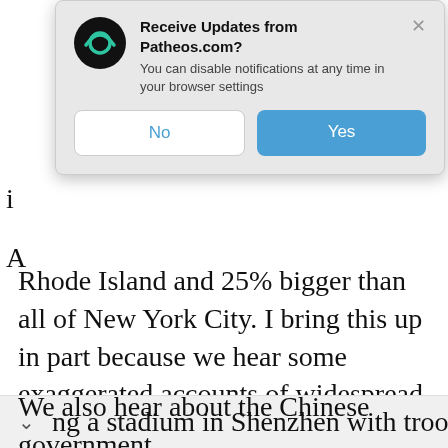[Figure (screenshot): Browser notification popup from Patheos.com asking 'Receive Updates from Patheos.com?' with 'No' and 'Yes' buttons and a close X button.]
Rhode Island and 25% bigger than all of New York City. I bring this up in part because we hear some exaggerated accounts of widespread violence or a shutdown of the city, which in fact only refer to small parts of the region.
We also hear about the Chinese government ng a stadium in Shenzhen with troops and